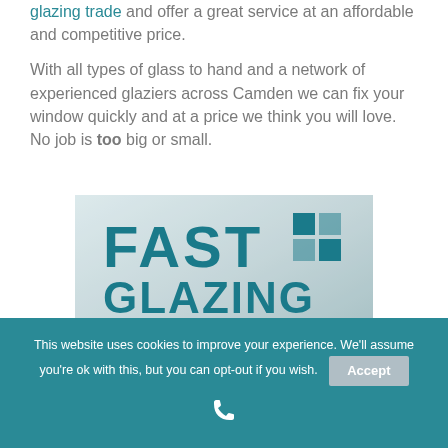glazing trade and offer a great service at an affordable and competitive price.
With all types of glass to hand and a network of experienced glaziers across Camden we can fix your window quickly and at a price we think you will love. No job is too big or small.
[Figure (photo): Photo of a Fast Glazing branded package/material showing 'FAST GLAZING' text in teal/blue on a white background with a small logo in the top right corner.]
This website uses cookies to improve your experience. We'll assume you're ok with this, but you can opt-out if you wish. Accept